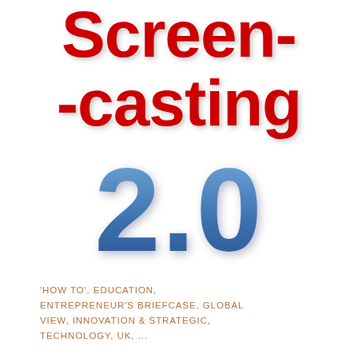Screen-casting
2.0
'HOW TO', EDUCATION, ENTREPRENEUR'S BRIEFCASE, GLOBAL VIEW, INNOVATION & STRATEGIC, TECHNOLOGY, UK, ...